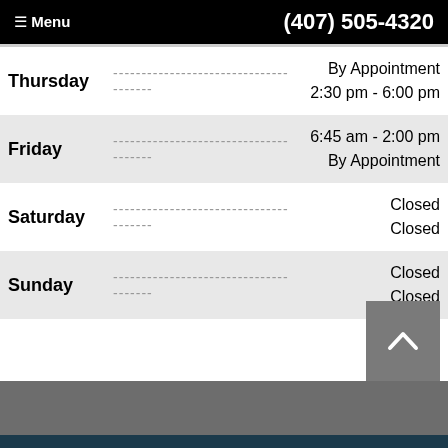≡ Menu   (407) 505-4320
| Day | Separator | Hours |
| --- | --- | --- |
| Thursday | -------------------------------------- | By Appointment
2:30 pm - 6:00 pm |
| Friday | -------------------------------------- | 6:45 am - 2:00 pm
By Appointment |
| Saturday | -------------------------------------- | Closed
Closed |
| Sunday | -------------------------------------- | Closed
Closed |
Our Convenient